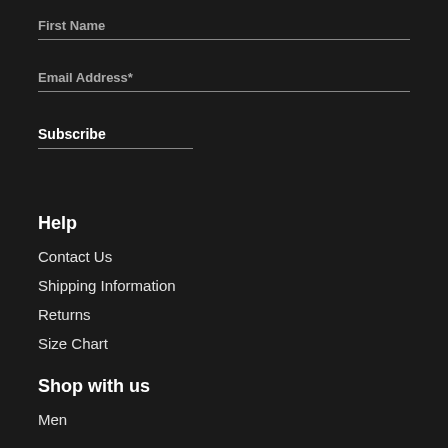First Name
Email Address*
Subscribe
Help
Contact Us
Shipping Information
Returns
Size Chart
Shop with us
Men